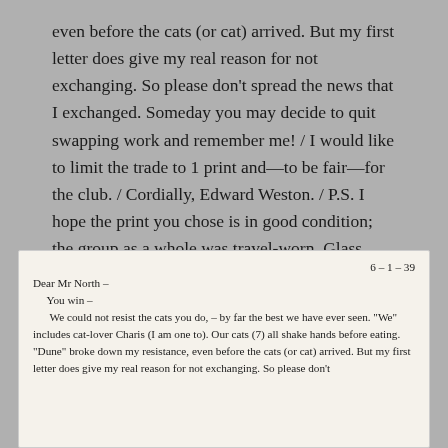even before the cats (or cat) arrived. But my first letter does give my real reason for not exchanging. So please don't spread the news that I exchanged. Someday you may decide to quit swapping work and remember me! / I would like to limit the trade to 1 print and—to be fair—for the club. / Cordially, Edward Weston. / P.S. I hope the print you chose is in good condition; the group as a whole was travel-worn. Glass covers a multitude of sins— E.W."[27]
[Figure (photo): Handwritten letter dated 6-1-39. Text reads: Dear Mr. North— You win— We could not resist the cats you do,— by far the best we have ever seen. 'We' includes cat-lover Charis (I am one to). Our cats (7) all shake hands before eating. 'Dune' broke down my resistance, even before the cats (or cat) arrived. But my first letter does give my real reason for not exchanging. So please don't...]